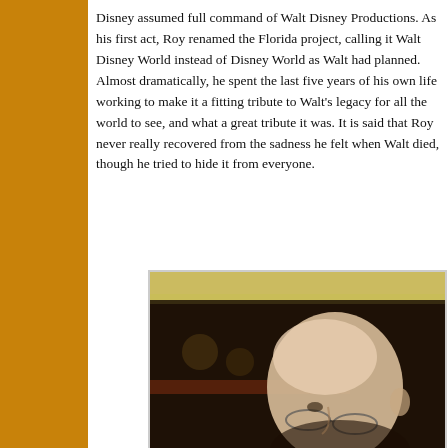Disney assumed full command of Walt Disney Productions. As his first act, Roy renamed the Florida project, calling it Walt Disney World instead of Disney World as Walt had planned. Almost dramatically, he spent the last five years of his own life working to make it a fitting tribute to Walt's legacy for all the world to see, and what a great tribute it was. It is said that Roy never really recovered from the sadness he felt when Walt died, though he tried to hide it from everyone.
[Figure (photo): Black and white/sepia photograph of an elderly bald man wearing glasses, looking downward, with blurred background lights visible behind him.]